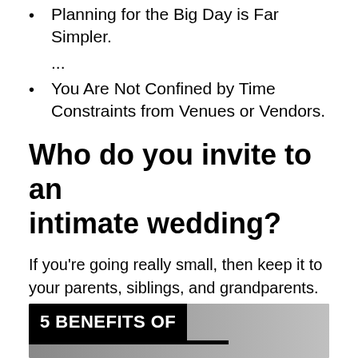Planning for the Big Day is Far Simpler.
...
You Are Not Confined by Time Constraints from Venues or Vendors.
Who do you invite to an intimate wedding?
If you’re going really small, then keep it to your parents, siblings, and grandparents. Don’t feel the need to invite your distant third cousin—yes, even if they invited you their wedding years ago. In fact, don’t feel the need to invite any family you’re not close with.
[Figure (infographic): Banner showing '5 BENEFITS OF' text in white on black background with partial image visible below]